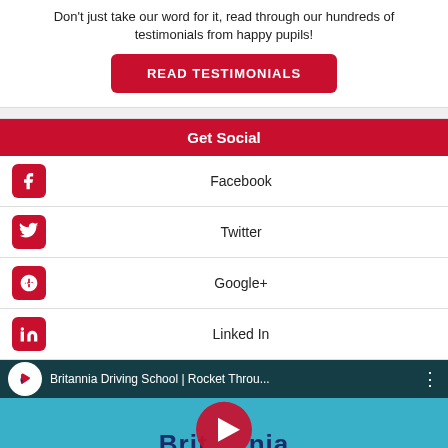Don't just take our word for it, read through our hundreds of testimonials from happy pupils!
READ TESTIMONIALS
Get Social
Facebook
Twitter
Google+
Linked In
[Figure (screenshot): YouTube video thumbnail for Britannia Driving School | Rocket Throu... with play button overlay and Britannia Driving School branding]